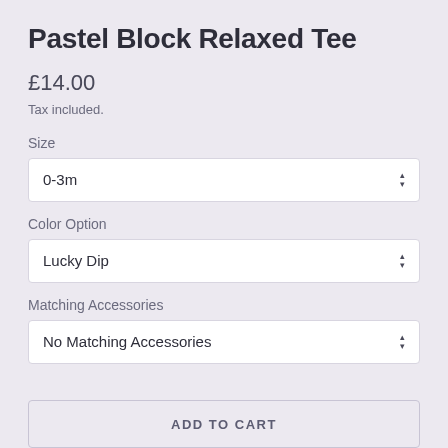Pastel Block Relaxed Tee
£14.00
Tax included.
Size
0-3m
Color Option
Lucky Dip
Matching Accessories
No Matching Accessories
ADD TO CART